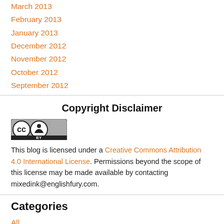March 2013
February 2013
January 2013
December 2012
November 2012
October 2012
September 2012
Copyright Disclaimer
[Figure (logo): Creative Commons Attribution (CC BY) license badge — circular CC logo with person icon on grey background]
This blog is licensed under a Creative Commons Attribution 4.0 International License. Permissions beyond the scope of this license may be made available by contacting mixedink@englishfury.com.
Categories
All
Class Period